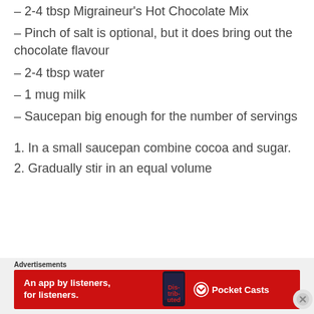– 2-4 tbsp Migraineur's Hot Chocolate Mix
– Pinch of salt is optional, but it does bring out the chocolate flavour
– 2-4 tbsp water
– 1 mug milk
– Saucepan big enough for the number of servings
1. In a small saucepan combine cocoa and sugar.
2. Gradually stir in an equal volume
Advertisements
[Figure (infographic): Red advertisement banner for Pocket Casts app: 'An app by listeners, for listeners.' with phone image and Pocket Casts logo]